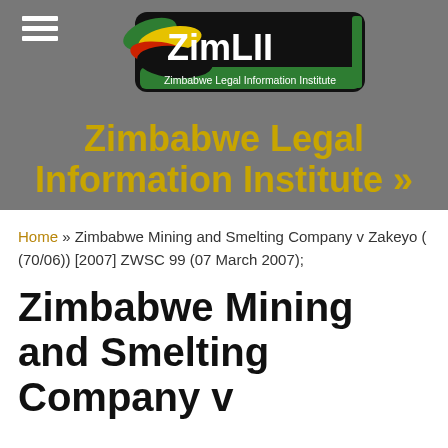[Figure (logo): ZimLII - Zimbabwe Legal Information Institute logo with colorful abstract shapes and black/green banner]
Zimbabwe Legal Information Institute »
Home » Zimbabwe Mining and Smelting Company v Zakeyo ( (70/06)) [2007] ZWSC 99 (07 March 2007);
Zimbabwe Mining and Smelting Company v